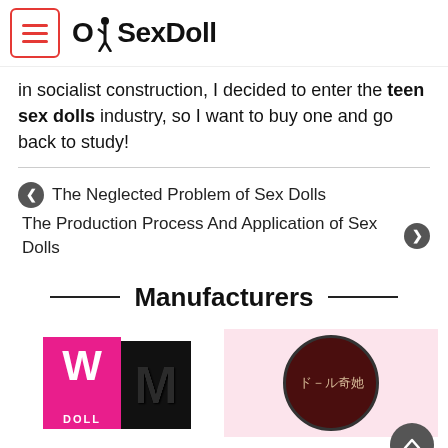OhSexDoll
in socialist construction, I decided to enter the teen sex dolls industry, so I want to buy one and go back to study!
← The Neglected Problem of Sex Dolls
The Production Process And Application of Sex Dolls →
Manufacturers
[Figure (logo): WM Doll logo: pink W-box with white W and DOLL text, black M-box with textured M letter]
[Figure (logo): Japanese brand logo: dark brown circle with Japanese text ドール奇她 on light pink background]